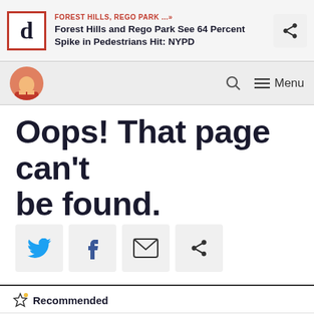FOREST HILLS, REGO PARK ...» Forest Hills and Rego Park See 64 Percent Spike in Pedestrians Hit: NYPD
Oops! That page can't be found.
[Figure (infographic): Social share buttons: Twitter, Facebook, Email, Share arrow]
Recommended
PROSPECT HEIGHTS »
'Affordable' Apartments End Up on StreetEasy After Housing Lottery Flops
CIVIC CENTER »